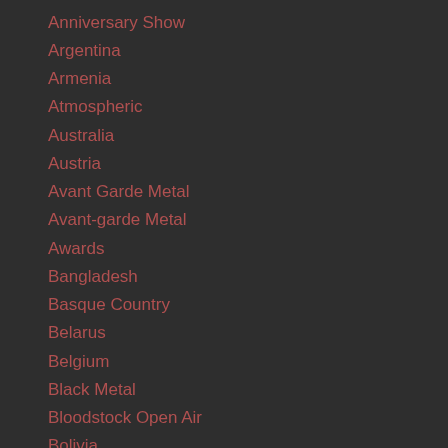Anniversary Show
Argentina
Armenia
Atmospheric
Australia
Austria
Avant Garde Metal
Avant-garde Metal
Awards
Bangladesh
Basque Country
Belarus
Belgium
Black Metal
Bloodstock Open Air
Bolivia
Bosnia Herzegovina
Bosnia-Herzegovina
Botswana
Brazil
Brunei